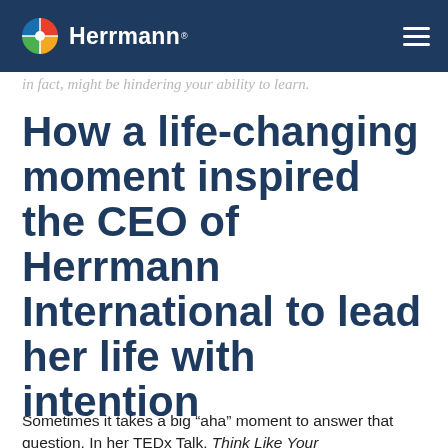Herrmann (logo navigation bar)
in fact, might be hindering your ability to learn.
How a life-changing moment inspired the CEO of Herrmann International to lead her life with intention
Sometimes it takes a big “aha” moment to answer that question. In her TEDx Talk, Think Like Your